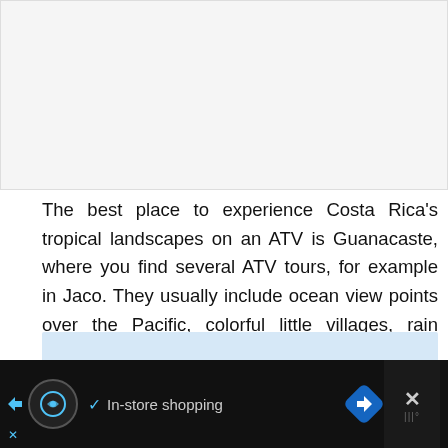[Figure (photo): Image placeholder area at top of page, light gray background]
The best place to experience Costa Rica's tropical landscapes on an ATV is Guanacaste, where you find several ATV tours, for example in Jaco. They usually include ocean view points over the Pacific, colorful little villages, rain forests with a myriad of wildlife, waterfalls and watermelon plantations, all while whizzing around on the ATV, combining the thrill of the off-roading with a scenic tour of the country.
[Figure (screenshot): Advertisement bar at bottom: black background with circular logo icon, checkmark, 'In-store shopping' text, blue diamond navigation icon, and X close button]